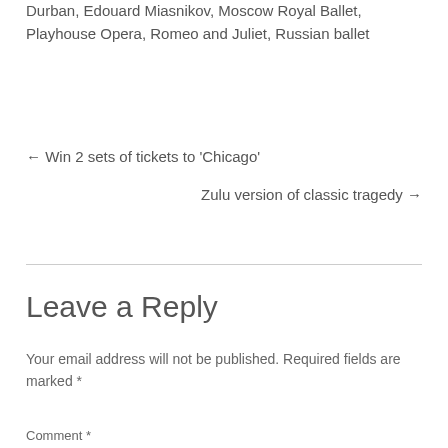Durban, Edouard Miasnikov, Moscow Royal Ballet, Playhouse Opera, Romeo and Juliet, Russian ballet
← Win 2 sets of tickets to 'Chicago'
Zulu version of classic tragedy →
Leave a Reply
Your email address will not be published. Required fields are marked *
Comment *